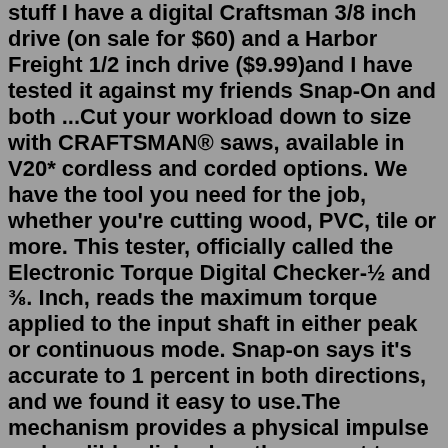stuff I have a digital Craftsman 3/8 inch drive (on sale for $60) and a Harbor Freight 1/2 inch drive ($9.99)and I have tested it against my friends Snap-On and both ...Cut your workload down to size with CRAFTSMAN® saws, available in V20* cordless and corded options. We have the tool you need for the job, whether you're cutting wood, PVC, tile or more. This tester, officially called the Electronic Torque Digital Checker-½ and ⅜. Inch, reads the maximum torque applied to the input shaft in either peak or continuous mode. Snap-on says it's accurate to 1 percent in both directions, and we found it easy to use.The mechanism provides a physical impulse and audible click when the correct torque setting is reached. IMPORTANT INFORMATION When servicing your torque wrench, contact our certified vendor, Angle Repair & Calibration, 175 Angle Dr, Beckley, WV 25801. (304) 253-5729 Compare our price of $129.99 to SNAP-ON at $450 (model number: QD3R250A).CRAFTSMAN® has the power to keep